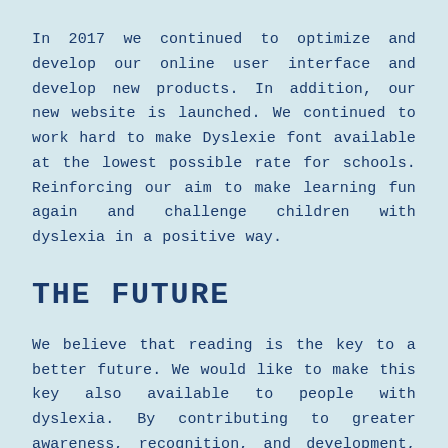In 2017 we continued to optimize and develop our online user interface and develop new products. In addition, our new website is launched. We continued to work hard to make Dyslexie font available at the lowest possible rate for schools. Reinforcing our aim to make learning fun again and challenge children with dyslexia in a positive way.
THE FUTURE
We believe that reading is the key to a better future. We would like to make this key also available to people with dyslexia. By contributing to greater awareness, recognition, and development, we hope to help people with dyslexia to make their way through the daily letter jungle and make